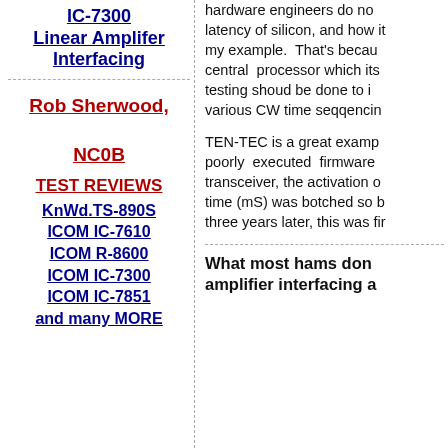IC-7300 Linear Amplifer Interfacing
Rob Sherwood, NC0B
TEST REVIEWS
KnWd.TS-890S
ICOM IC-7610
ICOM R-8600
ICOM IC-7300
ICOM IC-7851
and many MORE
hardware engineers do not know about the latency of silicon, and how it applies to my example. That's because the central processor which its self... testing shoud be done to insure the various CW time seqqencing
TEN-TEC is a great example of how poorly executed firmware can hurt a transceiver, the activation of the TX time (mS) was botched so badly, and three years later, this was fir...
What most hams don't know about amplifier interfacing a...